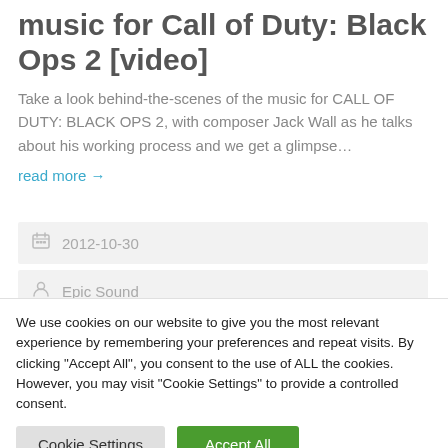music for Call of Duty: Black Ops 2 [video]
Take a look behind-the-scenes of the music for CALL OF DUTY: BLACK OPS 2, with composer Jack Wall as he talks about his working process and we get a glimpse…
read more →
2012-10-30
Epic Sound
We use cookies on our website to give you the most relevant experience by remembering your preferences and repeat visits. By clicking "Accept All", you consent to the use of ALL the cookies. However, you may visit "Cookie Settings" to provide a controlled consent.